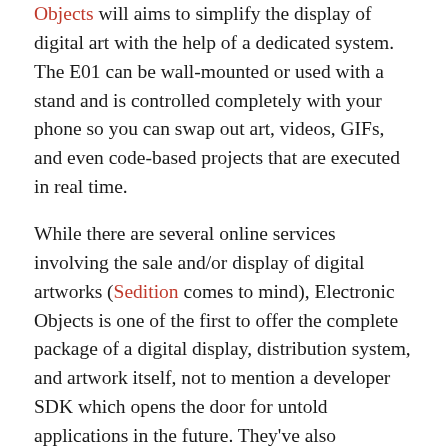Objects will aims to simplify the display of digital art with the help of a dedicated system. The E01 can be wall-mounted or used with a stand and is controlled completely with your phone so you can swap out art, videos, GIFs, and even code-based projects that are executed in real time.
While there are several online services involving the sale and/or display of digital artworks (Sedition comes to mind), Electronic Objects is one of the first to offer the complete package of a digital display, distribution system, and artwork itself, not to mention a developer SDK which opens the door for untold applications in the future. They've also announced content partnerships with the New York Public Library, Behance, Giphy, and the Museum of the Moving Image. Several of their demos include artwork by artists seen right here on Colossal including David Szakaly and Zach Dougherty. The E01 is $300 over on Kickstarter. (via Kottke)